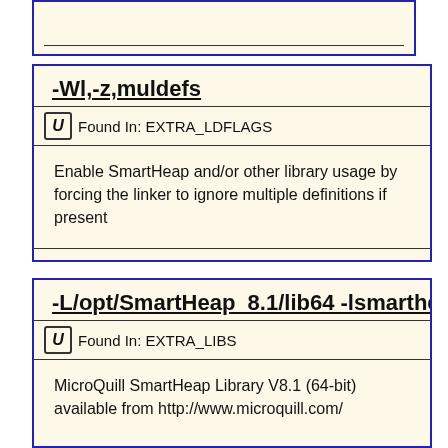(partial card top — cropped)
-Wl,-z,muldefs
Found In: EXTRA_LDFLAGS
Enable SmartHeap and/or other library usage by forcing the linker to ignore multiple definitions if present
-L/opt/SmartHeap_8.1/lib64 -lsmartheap
Found In: EXTRA_LIBS
MicroQuill SmartHeap Library V8.1 (64-bit) available from http://www.microquill.com/